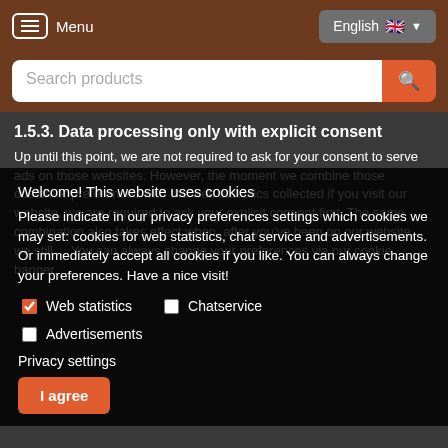Menu | English
Search products
1.5.3. Data processing only with explicit consent
Up until this point, we are not required to ask for your consent to serve ads on those websites. However, the moment we combine those customer preferences with the web statistics collected if you visit our website, we are required to ask your explicit consent first. The same combination also takes effect when, after you've been on our website, we still ... You can always change your preferences via our cookie banner.
Welcome! This website uses cookies
Please indicate in our privacy preferences settings which cookies we may set: cookies for web statistics, chat service and advertisements. Or immediately accept all cookies if you like. You can always change your preferences. Have a nice visit!
Web statistics
Chatservice
Advertisements
Privacy settings
I agree
1.5. Personal data My Little Philippines processes
We cannot recognize individual or trace data based on